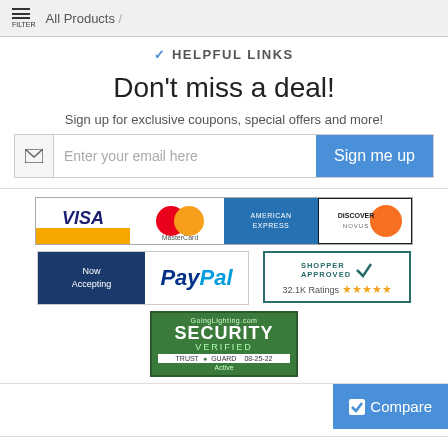≡ FILTER  All Products /
✔ HELPFUL LINKS
Don't miss a deal!
Sign up for exclusive coupons, special offers and more!
[Figure (screenshot): Email signup form with envelope icon, placeholder text 'Enter your email here', and 'Sign me up' blue button]
[Figure (logo): Payment logos: VISA, MasterCard, American Express, Discover]
[Figure (logo): Now Accepting PayPal logo badge]
[Figure (logo): Shopper Approved badge with 32.1K Ratings and 5 stars]
[Figure (logo): GoingLighting.com Security Verified Trust Guard Active 08-25-22 badge]
[Figure (screenshot): Blue Compare button with checkbox icon]
Customer Code: VN-132108958
© 2022 - GoingLighting